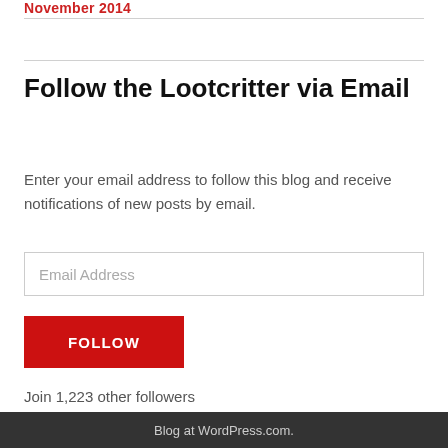November 2014
Follow the Lootcritter via Email
Enter your email address to follow this blog and receive notifications of new posts by email.
Email Address
FOLLOW
Join 1,223 other followers
Blog at WordPress.com.